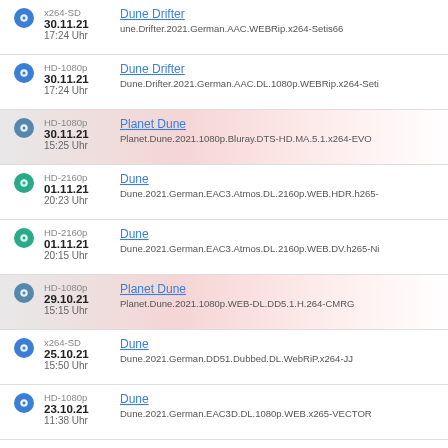30.11.21 17:24 Uhr | x264-SD | Dune Drifter | une.Drifter.2021.German.AAC.WEBRip.x264-Setis66
30.11.21 17:24 Uhr | HD-1080p | Dune Drifter | Dune.Drifter.2021.German.AAC.DL.1080p.WEBRip.x264-Seti
30.11.21 15:25 Uhr | HD-1080p | Planet Dune | Planet.Dune.2021.1080p.Bluray.DTS-HD.MA.5.1.x264-EVO
01.11.21 20:23 Uhr | HD-2160p | Dune | Dune.2021.German.EAC3.Atmos.DL.2160p.WEB.HDR.h265-
01.11.21 20:15 Uhr | HD-2160p | Dune | Dune.2021.German.EAC3.Atmos.DL.2160p.WEB.DV.h265-Ni
29.10.21 15:15 Uhr | HD-1080p | Planet Dune | Planet.Dune.2021.1080p.WEB-DL.DD5.1.H.264-CMRG
25.10.21 15:50 Uhr | x264-SD | Dune | Dune.2021.German.DD51.Dubbed.DL.WebRiP.x264-JJ
23.10.21 11:38 Uhr | HD-1080p | Dune | Dune.2021.German.EAC3D.DL.1080p.WEB.x265-VECTOR
23.10.21 11:35 Uhr | HD-1080p | Dune | Dune.2021.German.AC3.DL.1080p.WebHD.x265-FuN
Seite: 01 02 →